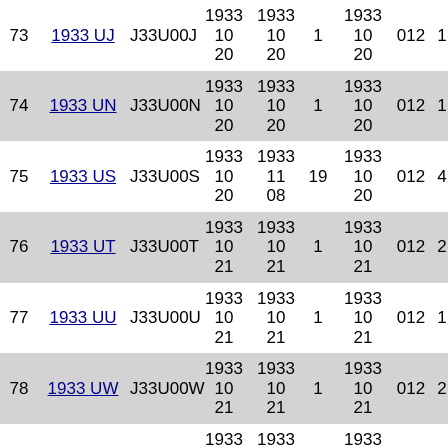| # | Name | Code | Start | End | Count | Date | Type | Val |
| --- | --- | --- | --- | --- | --- | --- | --- | --- |
| 73 | 1933 UJ | J33U00J | 1933 10 20 | 1933 10 20 | 1 | 1933 10 20 | 012 | 1 |
| 74 | 1933 UN | J33U00N | 1933 10 20 | 1933 10 20 | 1 | 1933 10 20 | 012 | 1 |
| 75 | 1933 US | J33U00S | 1933 10 20 | 1933 11 08 | 19 | 1933 10 20 | 012 | 4 |
| 76 | 1933 UT | J33U00T | 1933 10 21 | 1933 10 21 | 1 | 1933 10 21 | 012 | 2 |
| 77 | 1933 UU | J33U00U | 1933 10 21 | 1933 10 21 | 1 | 1933 10 21 | 012 | 1 |
| 78 | 1933 UW | J33U00W | 1933 10 21 | 1933 10 21 | 1 | 1933 10 21 | 012 | 2 |
| 79 | 1933 UA2 | J33U02A | 1933 10 29 | 1933 10 29 | 1 | 1933 10 29 | 012 | 1 |
| 80 | 1933 UB2 | J33U02B | 1933 10 20 | 1933 10 20 | 1 | 1933 10 20 | 012 | 1 |